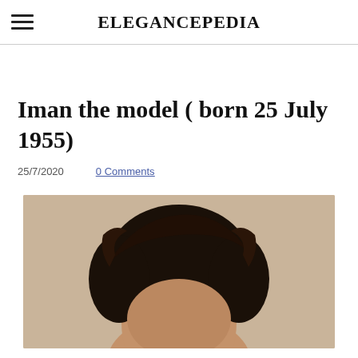ELEGANCEPEDIA
Iman the model ( born 25 July 1955)
25/7/2020   0 Comments
[Figure (photo): Close-up photo of a person's head showing dark hair against a tan/beige background, cropped at the top of the frame.]